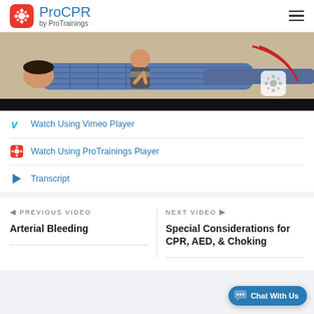ProCPR by ProTrainings
[Figure (photo): Video thumbnail showing a person lying on the floor receiving CPR training, with another person kneeling beside them. A ProCPR watermark logo is visible in the lower right of the video frame.]
Watch Using Vimeo Player
Watch Using ProTrainings Player
Transcript
PREVIOUS VIDEO
Arterial Bleeding
NEXT VIDEO
Special Considerations for CPR, AED, & Choking